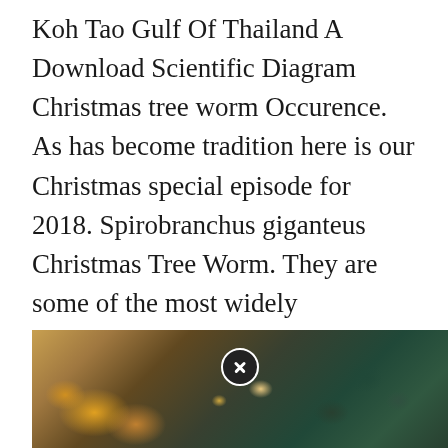Koh Tao Gulf Of Thailand A Download Scientific Diagram Christmas tree worm Occurence. As has become tradition here is our Christmas special episode for 2018. Spirobranchus giganteus Christmas Tree Worm. They are some of the most widely recognized polychaetes or marine burrowing segmented worms out there. Attached to their base where the corals were connected to their metal substrate.
[Figure (photo): Underwater photo of coral reef with Christmas tree worms (Spirobranchus giganteus) in the Gulf of Thailand, showing colorful corals and marine life with a close button overlay]